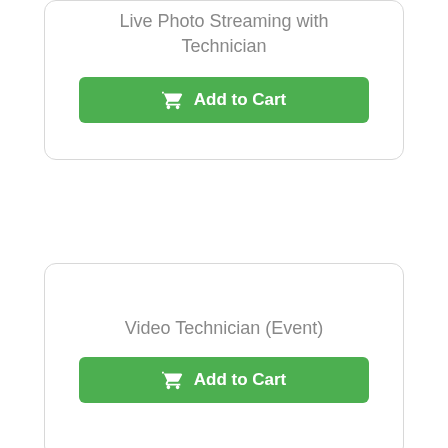Live Photo Streaming with Technician
Add to Cart
Video Technician (Event)
Add to Cart
[Figure (photo): A stage or DJ table covered with black draping/skirting on a wheeled base platform]